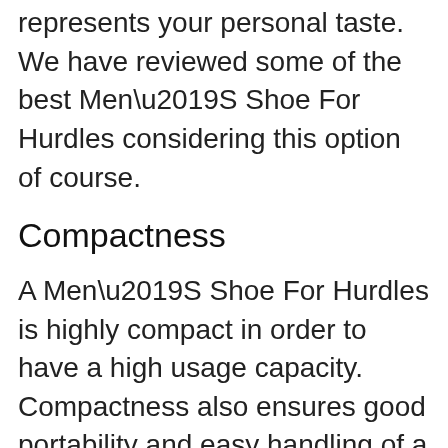represents your personal taste. We have reviewed some of the best Men’S Shoe For Hurdles considering this option of course.
Compactness
A Men’S Shoe For Hurdles is highly compact in order to have a high usage capacity. Compactness also ensures good portability and easy handling of a unit. Because if Men’S Shoe For Hurdles doesn’t comes handy, you may face it tough to manage while using it.